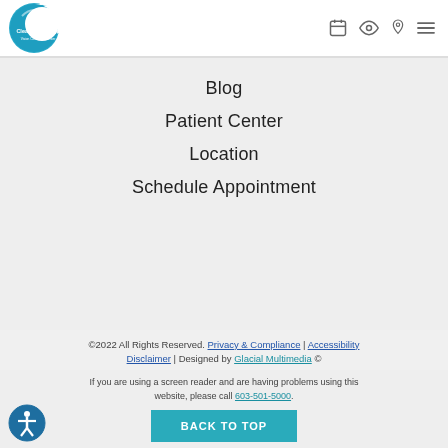[Figure (logo): Clear Advantage Vision Correction Center logo — blue crescent moon circle with text]
[Figure (other): Navigation icons: calendar, eye, location pin, hamburger menu]
Blog
Patient Center
Location
Schedule Appointment
©2022 All Rights Reserved. Privacy & Compliance | Accessibility Disclaimer | Designed by Glacial Multimedia ©
If you are using a screen reader and are having problems using this website, please call 603-501-5000.
[Figure (other): BACK TO TOP button (teal)]
[Figure (other): Accessibility icon — blue circle with person symbol]